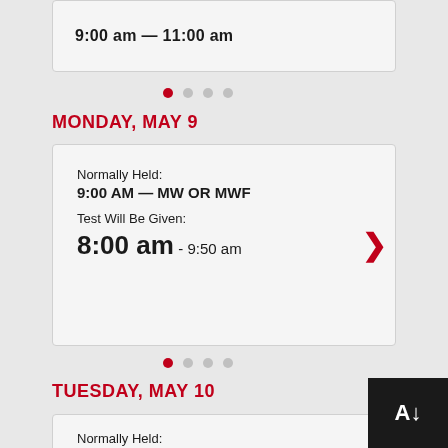9:00 AM — 11:00 am
MONDAY, MAY 9
Normally Held: 9:00 AM — MW OR MWF
Test Will Be Given: 8:00 am - 9:50 am
TUESDAY, MAY 10
Normally Held: 9:25 AM — TR
Test Will Be Given: 9:00 am